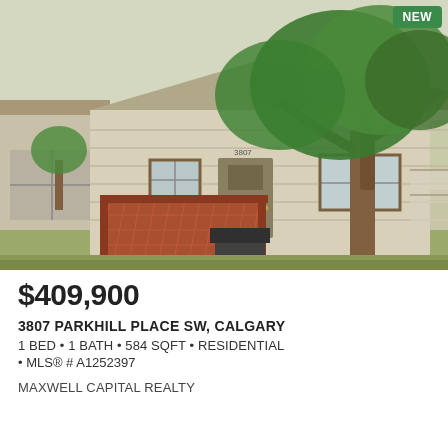[Figure (photo): Exterior photo of a single-story residential house with a large tree in front, a lattice-style reddish-brown deck/porch, steps leading to the entrance, and a detached garage on the left. A 'NEW' badge appears in the top-right corner of the image.]
$409,900
3807 PARKHILL PLACE SW, CALGARY
1 BED • 1 BATH • 584 SQFT • RESIDENTIAL
• MLS® # A1252397
MAXWELL CAPITAL REALTY